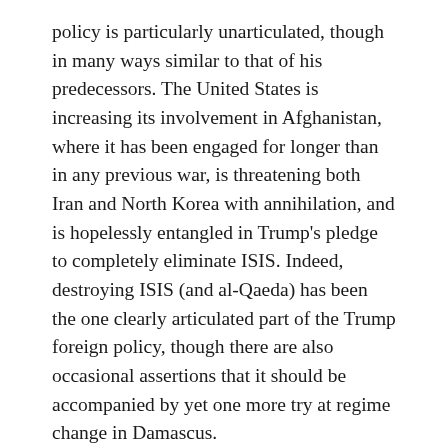policy is particularly unarticulated, though in many ways similar to that of his predecessors. The United States is increasing its involvement in Afghanistan, where it has been engaged for longer than in any previous war, is threatening both Iran and North Korea with annihilation, and is hopelessly entangled in Trump's pledge to completely eliminate ISIS. Indeed, destroying ISIS (and al-Qaeda) has been the one clearly articulated part of the Trump foreign policy, though there are also occasional assertions that it should be accompanied by yet one more try at regime change in Damascus.
And the grand tradition of using military might to back up diplomacy has certainly found little favor, so much so that it is certainly clear even to the supine American public and a risk averse congress that there is something wrong in Foggy Bottom. It is astonishing to note the mainstream media, which reviled George W. Bush when he was in office, describing him currently as a voice of moderation and